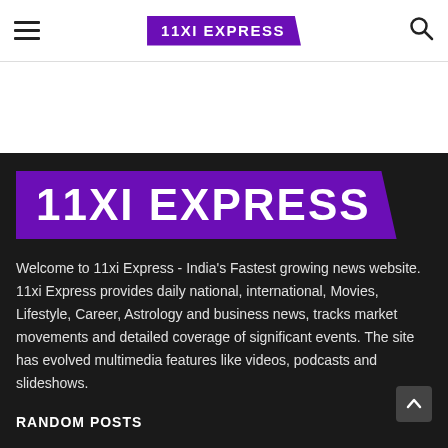11XI EXPRESS
[Figure (logo): 11XI Express logo — white bold text on purple parallelogram background, large version in dark section]
Welcome to 11xi Express - India's Fastest growing news website. 11xi Express provides daily national, international, Movies, Lifestyle, Career, Astrology and business news, tracks market movements and detailed coverage of significant events. The site has evolved multimedia features like videos, podcasts and slideshows.
RANDOM POSTS